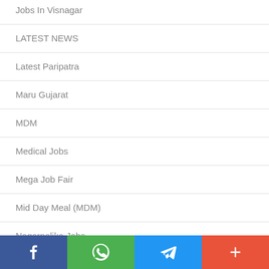Jobs In Visnagar
LATEST NEWS
Latest Paripatra
Maru Gujarat
MDM
Medical Jobs
Mega Job Fair
Mid Day Meal (MDM)
Nagarpalika Jobs
National Health Mission (NHM)
Navy Jobs
Nursing Jobs
OJAS JOBS
Facebook | WhatsApp | Telegram | More